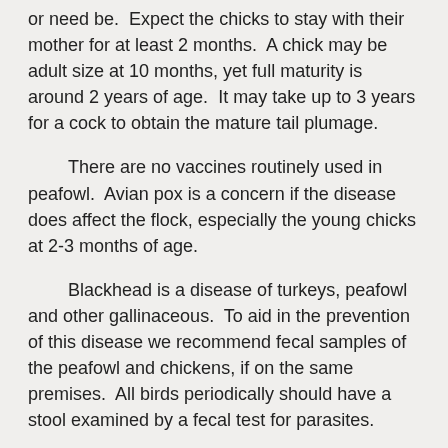or need be.  Expect the chicks to stay with their mother for at least 2 months.  A chick may be adult size at 10 months, yet full maturity is around 2 years of age.  It may take up to 3 years for a cock to obtain the mature tail plumage.
There are no vaccines routinely used in peafowl.  Avian pox is a concern if the disease does affect the flock, especially the young chicks at 2-3 months of age.
Blackhead is a disease of turkeys, peafowl and other gallinaceous.  To aid in the prevention of this disease we recommend fecal samples of the peafowl and chickens, if on the same premises.  All birds periodically should have a stool examined by a fecal test for parasites.